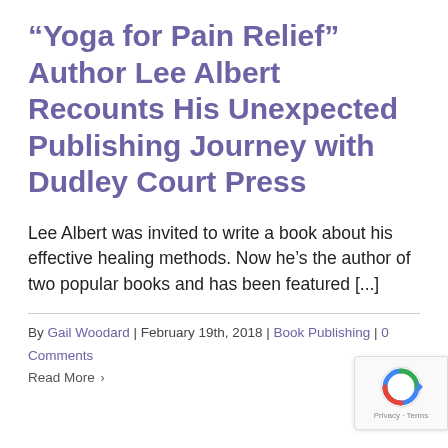“Yoga for Pain Relief” Author Lee Albert Recounts His Unexpected Publishing Journey with Dudley Court Press
Lee Albert was invited to write a book about his effective healing methods. Now he’s the author of two popular books and has been featured [...]
By Gail Woodard | February 19th, 2018 | Book Publishing | 0 Comments
Read More ›